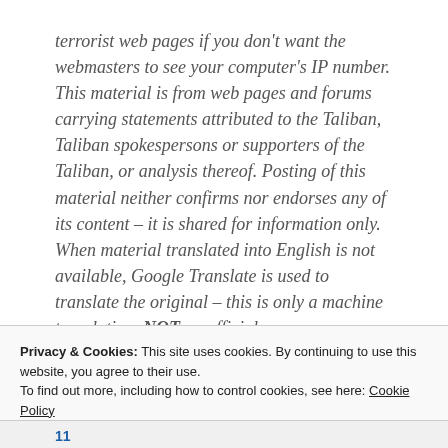terrorist web pages if you don't want the webmasters to see your computer's IP number. This material is from web pages and forums carrying statements attributed to the Taliban, Taliban spokespersons or supporters of the Taliban, or analysis thereof. Posting of this material neither confirms nor endorses any of its content – it is shared for information only. When material translated into English is not available, Google Translate is used to translate the original – this is only a machine translation, NOT an official one.
Privacy & Cookies: This site uses cookies. By continuing to use this website, you agree to their use. To find out more, including how to control cookies, see here: Cookie Policy
11